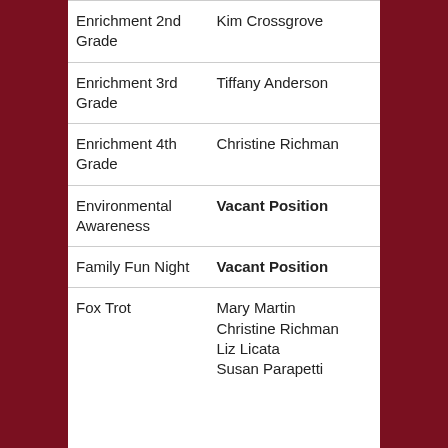| Role | Person |
| --- | --- |
| Enrichment 2nd Grade | Kim Crossgrove |
| Enrichment 3rd Grade | Tiffany Anderson |
| Enrichment 4th Grade | Christine Richman |
| Environmental Awareness | Vacant Position |
| Family Fun Night | Vacant Position |
| Fox Trot | Mary Martin
Christine Richman
Liz Licata
Susan Parapetti |